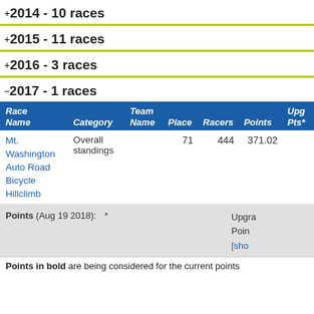⊞ 2014 - 10 races
⊞ 2015 - 11 races
⊞ 2016 - 3 races
⊟ 2017 - 1 races
| Race Name | Category | Team Name | Place | Racers | Points | Upg Pts* |
| --- | --- | --- | --- | --- | --- | --- |
| Mt. Washington Auto Road Bicycle Hillclimb | Overall standings |  | 71 | 444 | 371.02 |  |
Points (Aug 19 2018): * Upgrade Points [sho
Points in bold are being considered for the current points